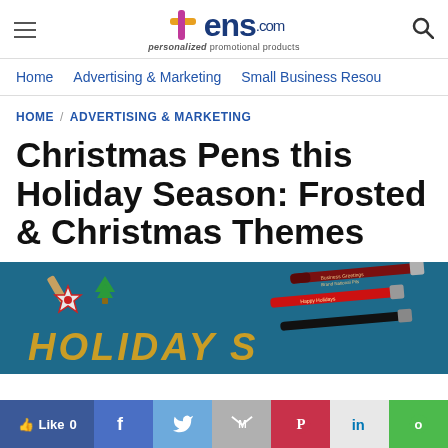[Figure (logo): Pens.com logo with colorful plus sign, tagline 'personalized promotional products']
Home / Advertising & Marketing / Small Business Resou
HOME / ADVERTISING & MARKETING
Christmas Pens this Holiday Season: Frosted & Christmas Themes
[Figure (photo): Holiday-themed promotional pens on teal background with ornament decorations and 'HOLIDAY S...' text overlay]
Like 0  [Facebook] [Twitter] [Gmail] [Pinterest] [LinkedIn] [Line]